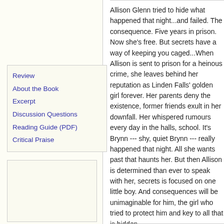Review
About the Book
Excerpt
Discussion Questions
Reading Guide (PDF)
Critical Praise
Allison Glenn tried to hide what happened that night...and failed. The consequence. Five years in prison. Now she's free. But secrets have a way of keeping you caged...When Allison is sent to prison for a heinous crime, she leaves behind her reputation as Linden Falls' golden girl forever. Her parents deny the existence, former friends exult in her downfall. Her whispered rumours every day in the halls, school. It's Brynn --- shy, quiet Brynn --- really happened that night. All she wants past that haunts her. But then Allison is determined than ever to speak with her, secrets is focused on one little boy. And consequences will be unimaginable for him, the girl who tried to protect him and key to all that is hidden.